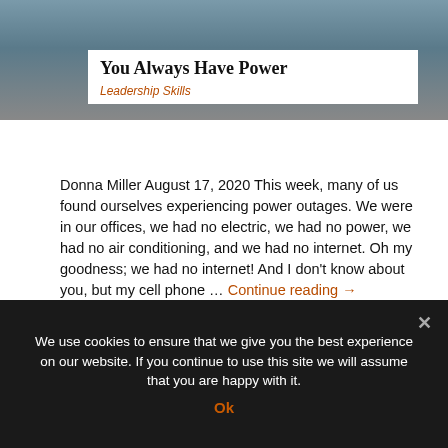[Figure (photo): Partial photo of a person's head/hair at the top of the page, teal/grey background]
You Always Have Power
Leadership Skills
Donna Miller August 17, 2020 This week, many of us found ourselves experiencing power outages. We were in our offices, we had no electric, we had no power, we had no air conditioning, and we had no internet. Oh my goodness; we had no internet! And I don't know about you, but my cell phone … Continue reading →
Leave a comment
We use cookies to ensure that we give you the best experience on our website. If you continue to use this site we will assume that you are happy with it.
Ok